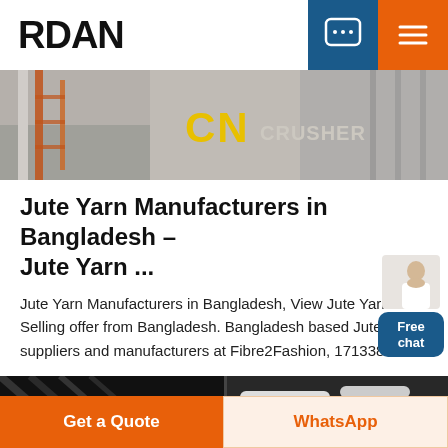RDAN
[Figure (photo): Industrial crusher equipment with yellow CN CRUSHER text on concrete wall]
Jute Yarn Manufacturers in Bangladesh – Jute Yarn ...
Jute Yarn Manufacturers in Bangladesh, View Jute Yarn Selling offer from Bangladesh. Bangladesh based Jute Yarn suppliers and manufacturers at Fibre2Fashion, 17133878
[Figure (photo): Industrial machinery/equipment in a factory setting with white pipes]
Get a Quote
WhatsApp